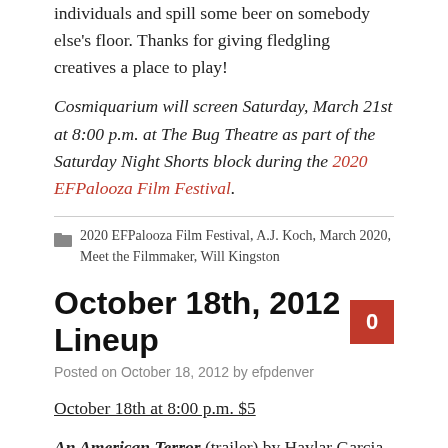individuals and spill some beer on somebody else's floor. Thanks for giving fledgling creatives a place to play!
Cosmiquarium will screen Saturday, March 21st at 8:00 p.m. at The Bug Theatre as part of the Saturday Night Shorts block during the 2020 EFPalooza Film Festival.
2020 EFPalooza Film Festival, A.J. Koch, March 2020, Meet the Filmmaker, Will Kingston
October 18th, 2012 Lineup
Posted on October 18, 2012 by efpdenver
October 18th at 8:00 p.m. $5
An American Terror (trailer) by Haylar Garcia (1:15)
Trauma (trailer) by Eileen Agosta (2:00)
WORM by David Quakenbush (9:30)